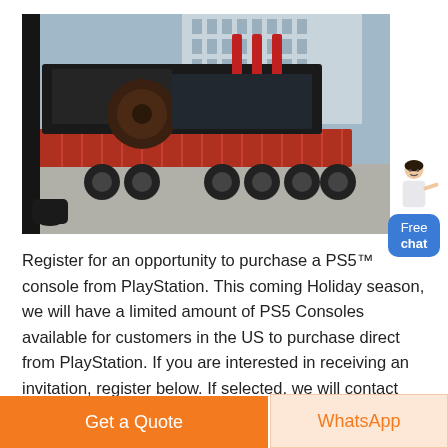[Figure (photo): Large industrial machinery (possibly a transformer or crusher) loaded on a heavy flatbed truck/trailer with red steel frame, photographed outdoors near a building.]
[Figure (illustration): Free chat widget: a woman gesturing with hand, and a blue rounded rectangle button reading 'Free chat']
Register for an opportunity to purchase a PS5™ console from PlayStation. This coming Holiday season, we will have a limited amount of PS5 Consoles available for customers in the US to purchase direct from PlayStation. If you are interested in receiving an invitation, register below. If selected, we will contact you via email with instructions ...
Get a Quote
WhatsApp